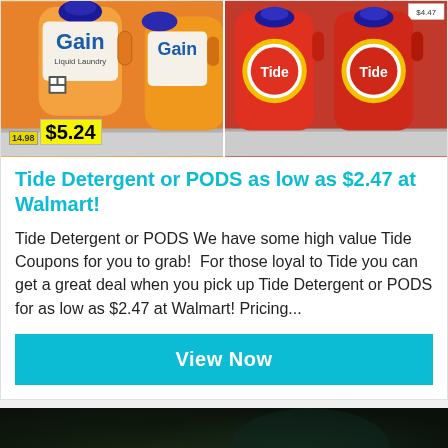[Figure (photo): Two product photos side by side: left shows Gain detergent bottles on a store shelf with a yellow price tag showing $5.24; right shows Tide detergent bottles (red/orange) on a store shelf with Tide logo visible.]
Tide Detergent or PODS as low as $2.47 at Walmart!
Tide Detergent or PODS We have some high value Tide Coupons for you to grab!  For those loyal to Tide you can get a great deal when you pick up Tide Detergent or PODS for as low as $2.47 at Walmart! Pricing...
View Now
[Figure (photo): Dark blurred background image, possibly a dark-themed product or night scene photo. A scroll-to-top button is visible in the bottom right corner.]